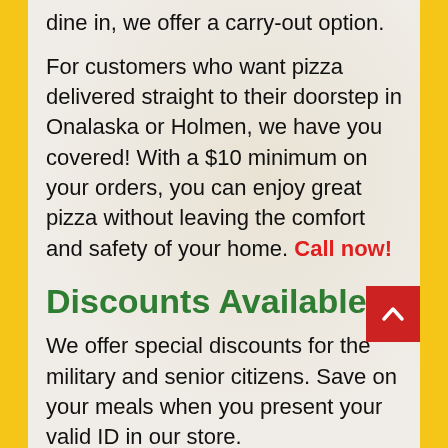dine in, we offer a carry-out option.
For customers who want pizza delivered straight to their doorstep in Onalaska or Holmen, we have you covered! With a $10 minimum on your orders, you can enjoy great pizza without leaving the comfort and safety of your home. Call now!
Discounts Available
We offer special discounts for the military and senior citizens. Save on your meals when you present your valid ID in our store.
Credit Card Payments
Good news to our patrons! We accept most